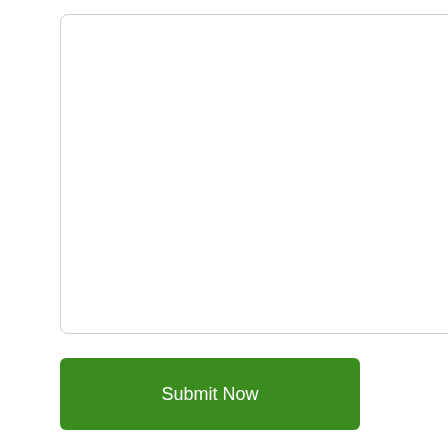* Message:
[Figure (other): Submit Now button - green rounded rectangle]
[Figure (other): 24/7 Online chat widget with customer service representative photo, 'Click here for free chat!' text and orange QUOTATION button]
[Figure (photo): Raw meat/organ tissue (liver) photographed on white background]
[Figure (other): TOP badge/icon with orange dots and text]